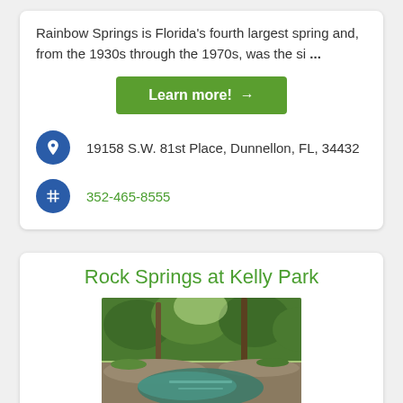Rainbow Springs is Florida's fourth largest spring and, from the 1930s through the 1970s, was the si ...
Learn more! →
19158 S.W. 81st Place, Dunnellon, FL, 34432
352-465-8555
Rock Springs at Kelly Park
[Figure (photo): Outdoor nature photo of Rock Springs at Kelly Park showing a natural spring with clear water, rocky ledges, green vegetation, and tall trees in the background]